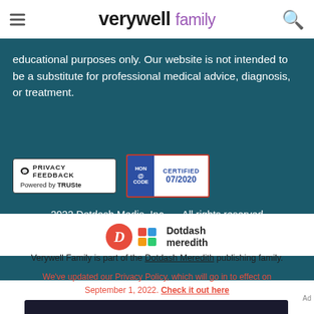verywell family
educational purposes only. Our website is not intended to be a substitute for professional medical advice, diagnosis, or treatment.
[Figure (logo): Privacy Feedback badge powered by TRUSTe, and HON Certified 07/2020 badge]
2022 Dotdash Media, Inc. — All rights reserved
[Figure (logo): Dotdash Meredith logo with orange D circle and colorful dot grid]
Verywell Family is part of the Dotdash Meredith publishing family.
We've updated our Privacy Policy, which will go in to effect on September 1, 2022. Check it out here
[Figure (infographic): Advertisement banner reading 'We help people find answers, solve problems and get inspired.' with Dotdash Meredith logo on dark background]